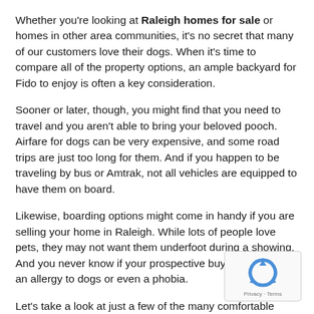Whether you're looking at Raleigh homes for sale or homes in other area communities, it's no secret that many of our customers love their dogs. When it's time to compare all of the property options, an ample backyard for Fido to enjoy is often a key consideration.
Sooner or later, though, you might find that you need to travel and you aren't able to bring your beloved pooch. Airfare for dogs can be very expensive, and some road trips are just too long for them. And if you happen to be traveling by bus or Amtrak, not all vehicles are equipped to have them on board.
Likewise, boarding options might come in handy if you are selling your home in Raleigh. While lots of people love pets, they may not want them underfoot during a showing. And you never know if your prospective buyers may have an allergy to dogs or even a phobia.
Let's take a look at just a few of the many comfortable options available:
[Figure (logo): reCAPTCHA badge with spinning arrows logo and Privacy and Terms links]